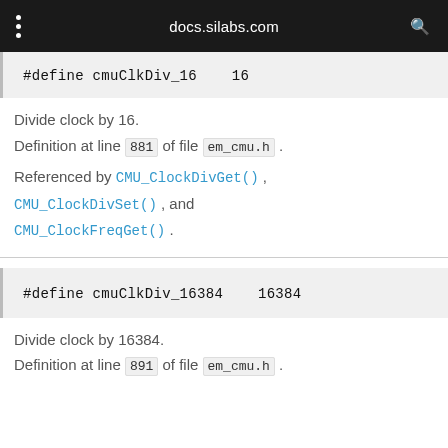docs.silabs.com
#define cmuClkDiv_16    16
Divide clock by 16.
Definition at line 881 of file em_cmu.h .
Referenced by CMU_ClockDivGet() , CMU_ClockDivSet() , and CMU_ClockFreqGet() .
#define cmuClkDiv_16384    16384
Divide clock by 16384.
Definition at line 891 of file em_cmu.h .